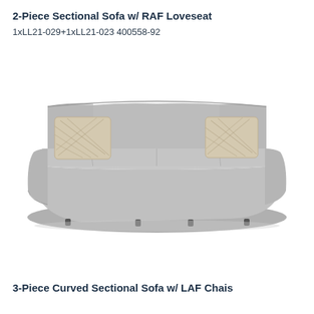2-Piece Sectional Sofa w/ RAF Loveseat
1xLL21-029+1xLL21-023 400558-92
[Figure (photo): A large curved gray sectional sofa with decorative patterned throw pillows on both ends, shown from a front-angle view on a white background. The sofa has a gentle curve in the base and four seat cushions with rolled arms.]
3-Piece Curved Sectional Sofa w/ LAF Chais